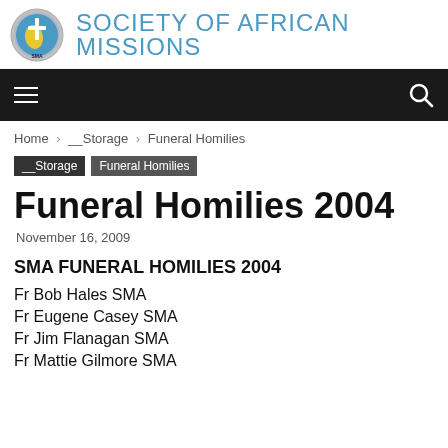Society of African Missions
Home › __Storage › Funeral Homilies
__Storage   Funeral Homilies
Funeral Homilies 2004
November 16, 2009
SMA FUNERAL HOMILIES 2004
Fr Bob Hales SMA
Fr Eugene Casey SMA
Fr Jim Flanagan SMA
Fr Mattie Gilmore SMA